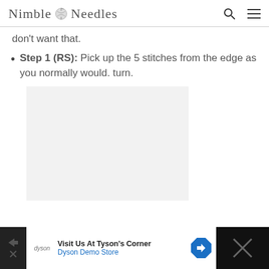Nimble Needles
don't want that.
Step 1 (RS): Pick up the 5 stitches from the edge as you normally would. turn.
[Figure (photo): Light gray placeholder image area below the step 1 instruction text]
Visit Us At Tyson's Corner — Dyson Demo Store (advertisement)